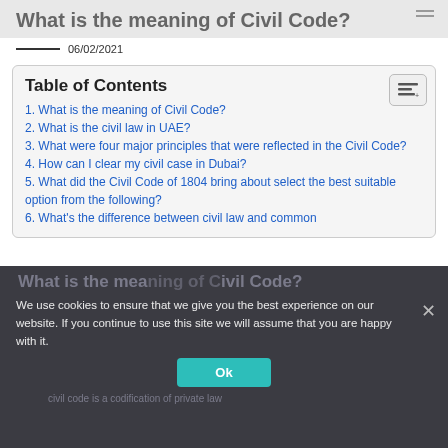What is the meaning of Civil Code?
06/02/2021
1. What is the meaning of Civil Code?
2. What is the civil law in UAE?
3. What were four major principles that were reflected in the Civil Code?
4. How can I clear my civil case in Dubai?
5. What did the Civil Code of 1804 bring about select the best suitable option from the following?
6. What's the difference between civil law and common law?
We use cookies to ensure that we give you the best experience on our website. If you continue to use this site we will assume that you are happy with it.
Ok
What is the meaning of Civil Code?
civil code is a codification of private law